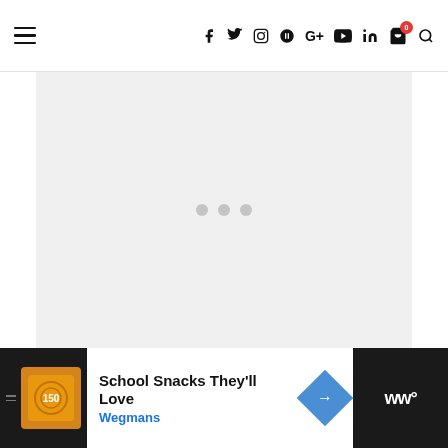Navigation bar with hamburger menu and social icons: f, Twitter, Instagram, Pinterest, G+, YouTube, LinkedIn, cart (0), search
[Figure (screenshot): Light gray loading placeholder area with three gray dots centered, indicating content loading]
[Figure (infographic): Advertisement banner for Wegmans 'School Snacks They'll Love' with orange logo thumbnail, blue brand text, navigation arrow, and dark sidebar with Wunderman logo]